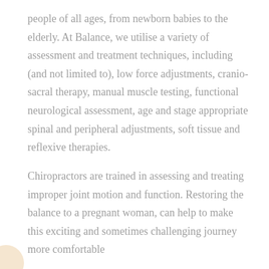people of all ages, from newborn babies to the elderly. At Balance, we utilise a variety of assessment and treatment techniques, including (and not limited to), low force adjustments, cranio-sacral therapy, manual muscle testing, functional neurological assessment, age and stage appropriate spinal and peripheral adjustments, soft tissue and reflexive therapies.
Chiropractors are trained in assessing and treating improper joint motion and function. Restoring the balance to a pregnant woman, can help to make this exciting and sometimes challenging journey more comfortable